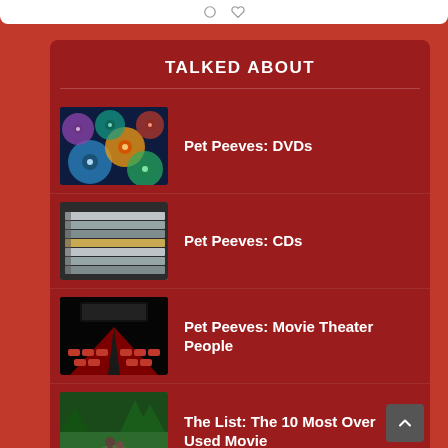TALKED ABOUT
Pet Peeves: DVDs
Pet Peeves: CDs
Pet Peeves: Movie Theater People
The List: The 10 Most Over Used Movie